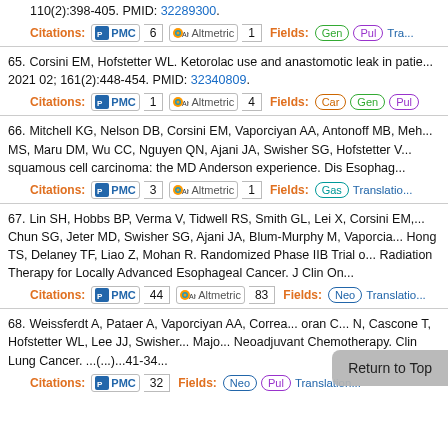110(2):398-405. PMID: 32289300.
Citations: PMC 6 | Altmetric 1 | Fields: Gen Pul Tra...
65. Corsini EM, Hofstetter WL. Ketorolac use and anastomotic leak in patie... 2021 02; 161(2):448-454. PMID: 32340809.
Citations: PMC 1 | Altmetric 4 | Fields: Car Gen Pul
66. Mitchell KG, Nelson DB, Corsini EM, Vaporciyan AA, Antonoff MB, Meh... MS, Maru DM, Wu CC, Nguyen QN, Ajani JA, Swisher SG, Hofstetter V... squamous cell carcinoma: the MD Anderson experience. Dis Esophag...
Citations: PMC 3 | Altmetric 1 | Fields: Gas | Translation...
67. Lin SH, Hobbs BP, Verma V, Tidwell RS, Smith GL, Lei X, Corsini EM,... Chun SG, Jeter MD, Swisher SG, Ajani JA, Blum-Murphy M, Vaporcia... Hong TS, Delaney TF, Liao Z, Mohan R. Randomized Phase IIB Trial o... Radiation Therapy for Locally Advanced Esophageal Cancer. J Clin On...
Citations: PMC 44 | Altmetric 83 | Fields: Neo | Translation...
68. Weissferdt A, Pataer A, Vaporciyan AA, Correa... oran C... N, Cascone T, Hofstetter WL, Lee JJ, Swisher... Majo... Neoadjuvant Chemotherapy. Clin Lung Cancer.... 41-34...
Citations: PMC 32 | Fields: Neo Pul | Translation... Hum...